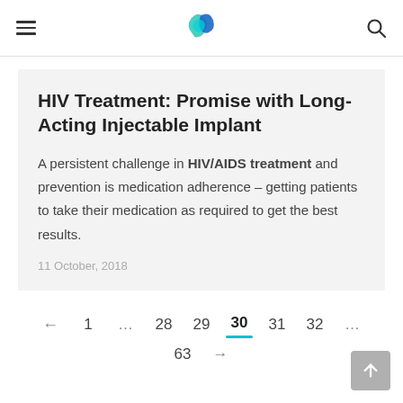Navigation header with hamburger menu, logo, and search icon
HIV Treatment: Promise with Long-Acting Injectable Implant
A persistent challenge in HIV/AIDS treatment and prevention is medication adherence – getting patients to take their medication as required to get the best results.
11 October, 2018
← 1 … 28 29 30 31 32 … 63 →